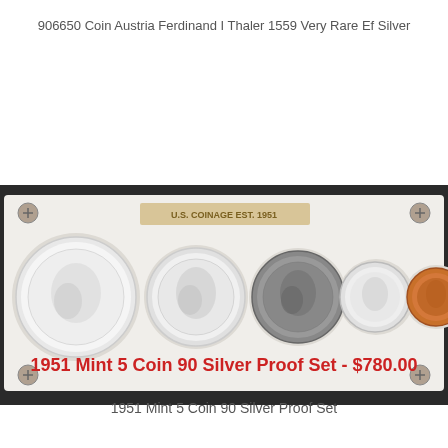906650 Coin Austria Ferdinand I Thaler 1559 Very Rare Ef Silver
[Figure (photo): Photo of a 1951 US Mint 5 Coin 90% Silver Proof Set displayed in a white holder, showing five coins: a half dollar, quarter, nickel, dime, and cent from left to right.]
1951 Mint 5 Coin 90 Silver Proof Set - $780.00
1951 Mint 5 Coin 90 Silver Proof Set